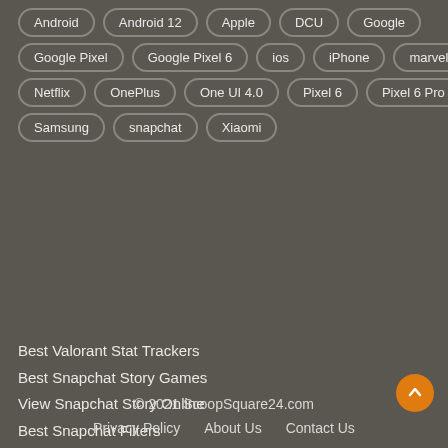Android
Android 12
Apple
DCU
Google
Google Pixel
Google Pixel 6
ios
iPhone
marvel
Netflix
OnePlus
One UI 4.0
Pixel 6
Pixel 6 Pro
Samsung
snapchat
Xiaomi
Best Valorant Stat Trackers
Best Snapchat Story Games
View Snapchat Story Online
Best Snapchat Filters
Fix Tap to Load error
Best Apps Like Snapchat
© 2021 ScoopSquare24.com
Privacy Policy   About Us   Contact Us